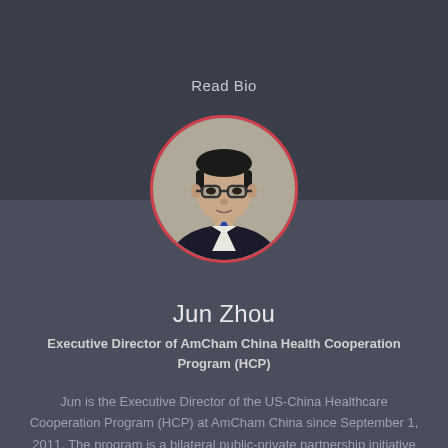Read Bio
[Figure (photo): Circular portrait photo of Jun Zhou, a middle-aged Asian man wearing glasses and a dark suit with a blue tie, set against a gray background, framed with a pink/red circular border]
Jun Zhou
Executive Director of AmCham China Health Cooperation Program (HCP)
Jun is the Executive Director of the US-China Healthcare Cooperation Program (HCP) at AmCham China since September 1, 2011. The program is a bilateral public-private partnership initiative t...